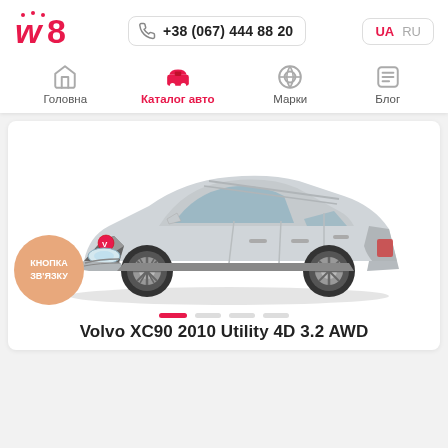[Figure (logo): w8 logo in red/pink color]
+38 (067) 444 88 20
UA  RU
Головна
Каталог авто
Марки
Блог
[Figure (photo): Silver Volvo XC90 SUV side-front view on white background]
КНОПКА ЗВ'ЯЗКУ
Volvo XC90 2010 Utility 4D 3.2 AWD